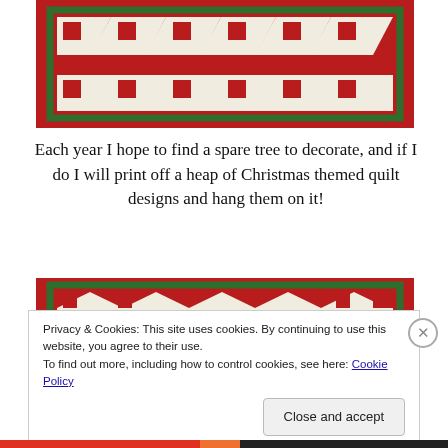[Figure (photo): Top portion of a Christmas-themed quilt with red background, green border, and cream/white diamond patterns with small decorative squares]
Each year I hope to find a spare tree to decorate, and if I do I will print off a heap of Christmas themed quilt designs and hang them on it!
[Figure (photo): Bottom portion of a Christmas-themed quilt, mirror/continuation of the top image, showing red background and cream patterned center]
Privacy & Cookies: This site uses cookies. By continuing to use this website, you agree to their use.
To find out more, including how to control cookies, see here: Cookie Policy